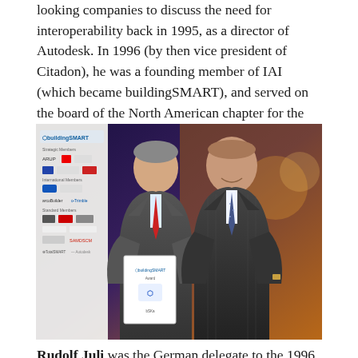looking companies to discuss the need for interoperability back in 1995, as a director of Autodesk. In 1996 (by then vice president of Citadon), he was a founding member of IAI (which became buildingSMART), and served on the board of the North American chapter for the next ten years.
[Figure (photo): Two men in dark suits holding a buildingSMART certificate/award at what appears to be a formal event. A buildingSMART banner with sponsor logos is visible in the background.]
Rudolf Juli was the German delegate to the 1996 meeting in London which established IAI